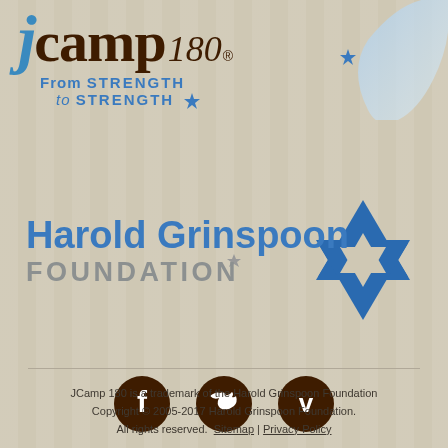[Figure (logo): JCamp 180 logo with tagline 'From STRENGTH to STRENGTH' and decorative blue arc with star]
[Figure (logo): Harold Grinspoon Foundation logo with blue Star of David]
[Figure (logo): Social media icons: Facebook, Twitter, Vimeo in dark brown circles]
JCamp 180 is a trademark of the Harold Grinspoon Foundation
Copyright © 2005-2017 Harold Grinspoon Foundation.
All rights reserved.  Sitemap | Privacy Policy